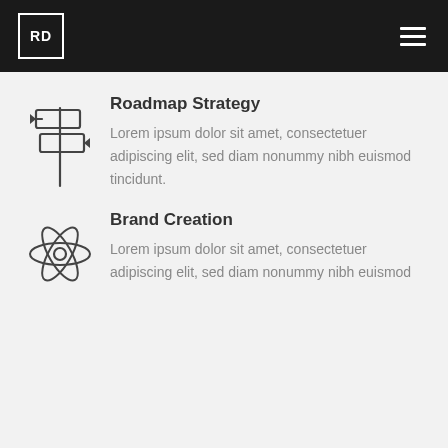RD [logo] | hamburger menu
[Figure (illustration): Signpost / roadmap icon with two directional signs on a pole, drawn in outline style]
Roadmap Strategy
Lorem ipsum dolor sit amet, consectetuer adipiscing elit, sed diam nonummy nibh euismod tincidunt.
[Figure (illustration): Atom / molecule icon with orbiting electrons and central nucleus, drawn in outline style]
Brand Creation
Lorem ipsum dolor sit amet, consectetuer adipiscing elit, sed diam nonummy nibh euismod